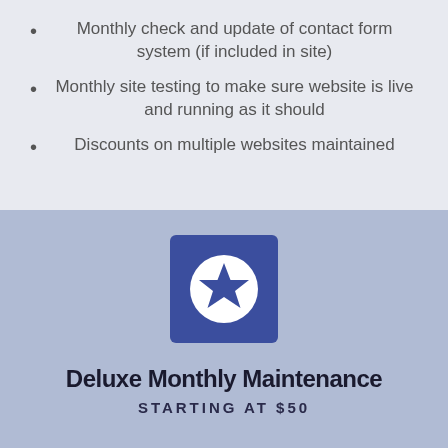Monthly check and update of contact form system (if included in site)
Monthly site testing to make sure website is live and running as it should
Discounts on multiple websites maintained
[Figure (illustration): Blue square icon with a white circle containing a blue star in the center]
Deluxe Monthly Maintenance
STARTING AT $50